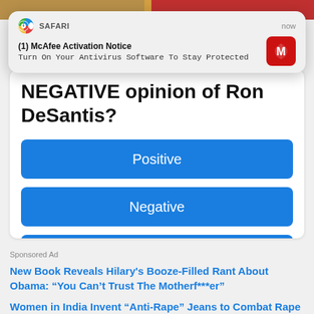[Figure (screenshot): Top image strip showing two people partially cropped]
[Figure (screenshot): Safari browser notification popup for McAfee Activation Notice saying 'Turn On Your Antivirus Software To Stay Protected' with McAfee red icon]
NEGATIVE opinion of Ron DeSantis?
Positive
Negative
I'm not sure
Sponsored Ad
New Book Reveals Hilary's Booze-Filled Rant About Obama: “You Can’t Trust The Motherf***er”
Women in India Invent “Anti-Rape” Jeans to Combat Rape